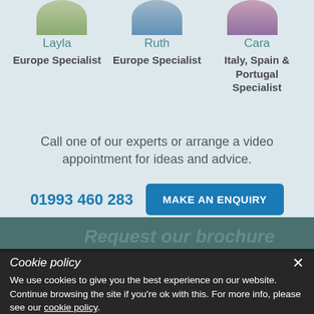Layla
Europe Specialist
Ruth
Europe Specialist
Cara
Italy, Spain & Portugal Specialist
Call one of our experts or arrange a video appointment for ideas and advice.
01993 460 283
MAKE AN ENQUIRY
Cookie policy
We use cookies to give you the best experience on our website. Continue browsing the site if you're ok with this. For more info, please see our cookie policy.